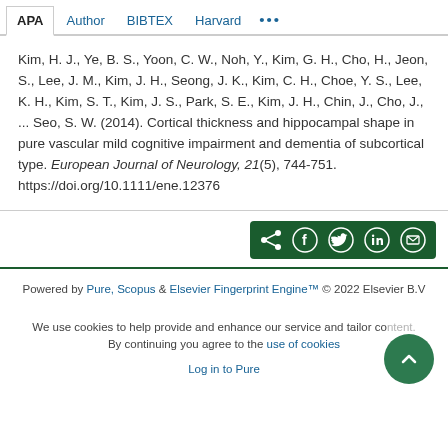APA  Author  BIBTEX  Harvard  ...
Kim, H. J., Ye, B. S., Yoon, C. W., Noh, Y., Kim, G. H., Cho, H., Jeon, S., Lee, J. M., Kim, J. H., Seong, J. K., Kim, C. H., Choe, Y. S., Lee, K. H., Kim, S. T., Kim, J. S., Park, S. E., Kim, J. H., Chin, J., Cho, J., ... Seo, S. W. (2014). Cortical thickness and hippocampal shape in pure vascular mild cognitive impairment and dementia of subcortical type. European Journal of Neurology, 21(5), 744-751. https://doi.org/10.1111/ene.12376
[Figure (infographic): Dark green share bar with social media icons: share, Facebook, Twitter, LinkedIn, email]
Powered by Pure, Scopus & Elsevier Fingerprint Engine™ © 2022 Elsevier B.V
We use cookies to help provide and enhance our service and tailor content. By continuing you agree to the use of cookies
Log in to Pure